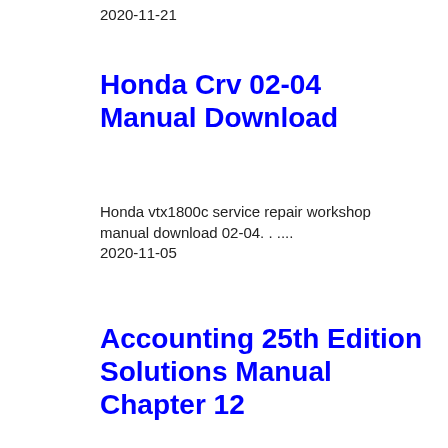2020-11-21
Honda Crv 02-04 Manual Download
Honda vtx1800c service repair workshop manual download 02-04. . .... 2020-11-05
Accounting 25th Edition Solutions Manual Chapter 12